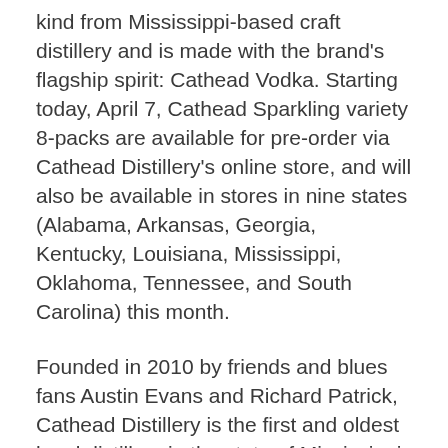kind from Mississippi-based craft distillery and is made with the brand's flagship spirit: Cathead Vodka. Starting today, April 7, Cathead Sparkling variety 8-packs are available for pre-order via Cathead Distillery's online store, and will also be available in stores in nine states (Alabama, Arkansas, Georgia, Kentucky, Louisiana, Mississippi, Oklahoma, Tennessee, and South Carolina) this month.
Founded in 2010 by friends and blues fans Austin Evans and Richard Patrick, Cathead Distillery is the first and oldest legal distillery in the state of Mississippi. Known for their standout portfolio of six small batch spirits, including the market's only